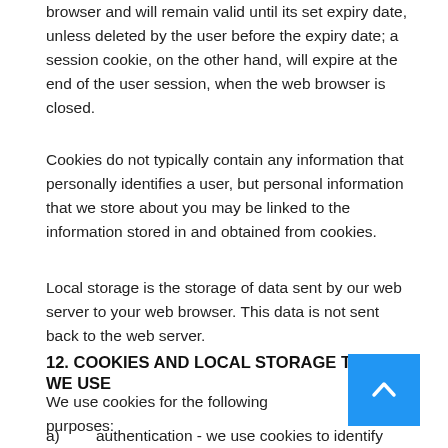browser and will remain valid until its set expiry date, unless deleted by the user before the expiry date; a session cookie, on the other hand, will expire at the end of the user session, when the web browser is closed.
Cookies do not typically contain any information that personally identifies a user, but personal information that we store about you may be linked to the information stored in and obtained from cookies.
Local storage is the storage of data sent by our web server to your web browser. This data is not sent back to the web server.
12. COOKIES AND LOCAL STORAGE THAT WE USE
We use cookies for the following purposes:
a)	authentication - we use cookies to identify you when you visit our website and as you navigate our website;